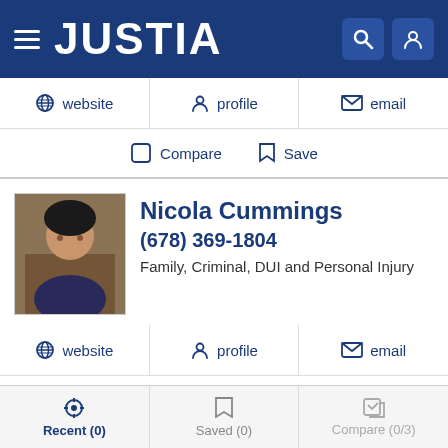JUSTIA
website | profile | email
Compare  Save
Nicola Cummings
(678) 369-1804
Family, Criminal, DUI and Personal Injury
website | profile | email
Compare  Save
Mr. Samuel E. Thomas
Recent (0)  Saved (0)  Compare (0/3)